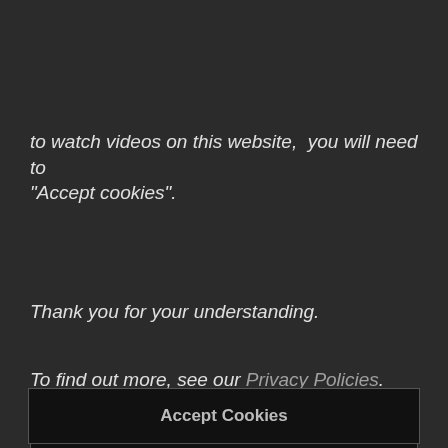to watch videos on this website,  you will need to "Accept cookies".
Thank you for your understanding.
To find out more, see our Privacy Policies.
Accept Cookies
Disable Cookies